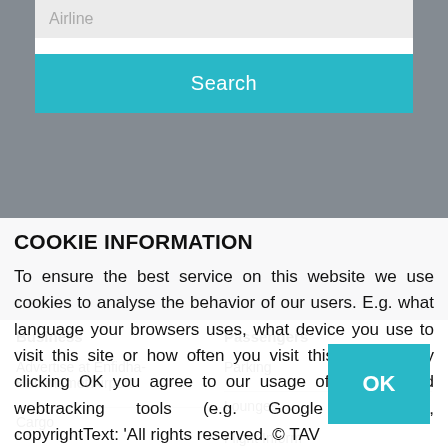[Figure (screenshot): Mobile website screenshot showing an airline search interface with an 'Airline' input field and a teal 'Search' button]
COOKIE INFORMATION
To ensure the best service on this website we use cookies to analyse the behavior of our users. E.g. what language your browsers uses, what device you use to visit this site or how often you visit this website. By clicking OK you agree to our usage of cookies and webtracking tools (e.g. Google analytics)', copyrightText: 'All rights reserved. © TAV
Business
Passengers
Advertise at Enfidha-Hammamet Airport
Parking
Lounges
Cargo
Flight Inform
Route Development
Transportation